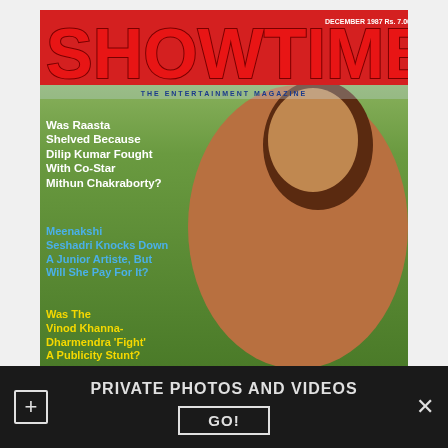[Figure (photo): Scanned magazine cover of 'Showtime' entertainment magazine, December 1987, Rs. 7.00. Features a woman with long dark wavy hair posing outdoors against a green garden background. Large red 'SHOWTIME' masthead at top. Tagline: 'The Entertainment Magazine'. White headline: 'Was Raasta Shelved Because Dilip Kumar Fought With Co-Star Mithun Chakraborty?' Blue headline: 'Meenakshi Seshadri Knocks Down A Junior Artiste, But Will She Pay For It?' Yellow headline: 'Was The Vinod Khanna-Dharmendra Fight A Publicity Stunt?']
PRIVATE PHOTOS AND VIDEOS
GO!